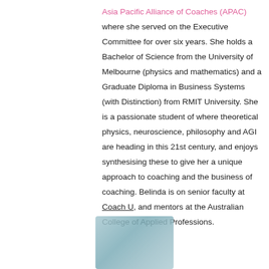Asia Pacific Alliance of Coaches (APAC) where she served on the Executive Committee for over six years. She holds a Bachelor of Science from the University of Melbourne (physics and mathematics) and a Graduate Diploma in Business Systems (with Distinction) from RMIT University. She is a passionate student of where theoretical physics, neuroscience, philosophy and AGI are heading in this 21st century, and enjoys synthesising these to give her a unique approach to coaching and the business of coaching. Belinda is on senior faculty at Coach U, and mentors at the Australian College of Applied Professions.
[Figure (photo): Blurred/redacted photograph of a person, shown at the bottom center of the page]